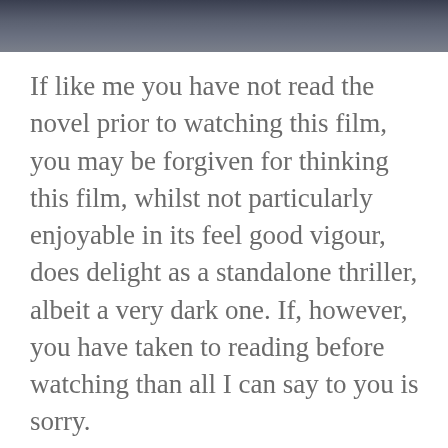[Figure (photo): Dark atmospheric photo strip at the top of the page, showing a dark blueish-grey scene, partially cropped.]
If like me you have not read the novel prior to watching this film, you may be forgiven for thinking this film, whilst not particularly enjoyable in its feel good vigour, does delight as a standalone thriller, albeit a very dark one. If, however, you have taken to reading before watching than all I can say to you is sorry.
Because let’s face it, the film can be deemed unrecognisable in comparison. Not only has the setting